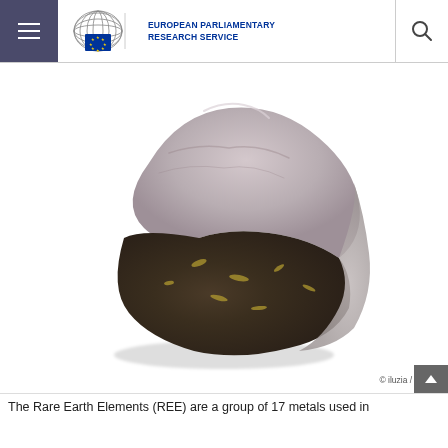EUROPEAN PARLIAMENTARY RESEARCH SERVICE
[Figure (photo): A rough mineral rock specimen, showing layered brown, dark metallic and grey-pink textures, photographed on a white background. Likely a rare earth element ore sample.]
© iluzia / Fotolia
The Rare Earth Elements (REE) are a group of 17 metals used in...